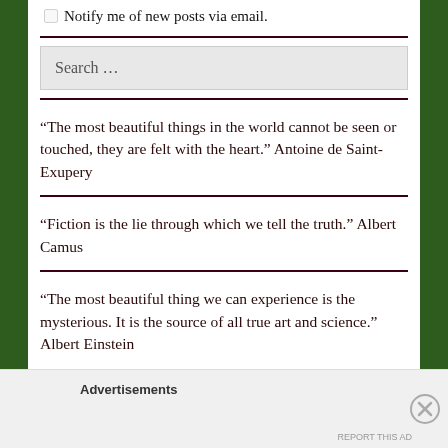Notify me of new posts via email.
Search …
“The most beautiful things in the world cannot be seen or touched, they are felt with the heart.” Antoine de Saint-Exupery
“Fiction is the lie through which we tell the truth.” Albert Camus
“The most beautiful thing we can experience is the mysterious. It is the source of all true art and science.” Albert Einstein
Advertisements